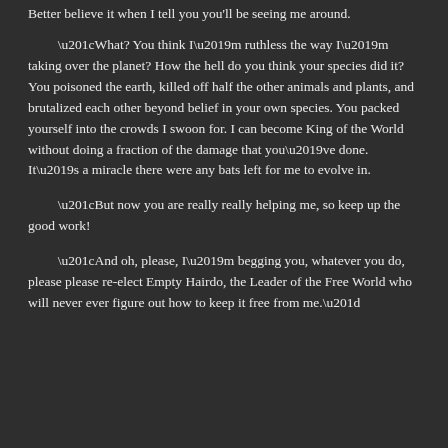Better believe it when I tell you you'll be seeing me around.
“What? You think I’m ruthless the way I’m taking over the planet? How the hell do you think your species did it? You poisoned the earth, killed off half the other animals and plants, and brutalized each other beyond belief in your own species. You packed yourself into the crowds I swoon for. I can become King of the World without doing a fraction of the damage that you’ve done. It’s a miracle there were any bats left for me to evolve in.
“But now you are really really helping me, so keep up the good work!
“And oh, please, I’m begging you, whatever you do, please please re-elect Empty Hairdo, the Leader of the Free World who will never ever figure out how to keep it free from me.”